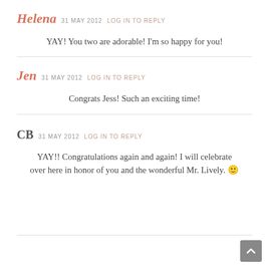Helena 31 MAY 2012 LOG IN TO REPLY
YAY! You two are adorable! I'm so happy for you!
Jen 31 MAY 2012 LOG IN TO REPLY
Congrats Jess! Such an exciting time!
CB 31 MAY 2012 LOG IN TO REPLY
YAY!! Congratulations again and again! I will celebrate over here in honor of you and the wonderful Mr. Lively. 🙂